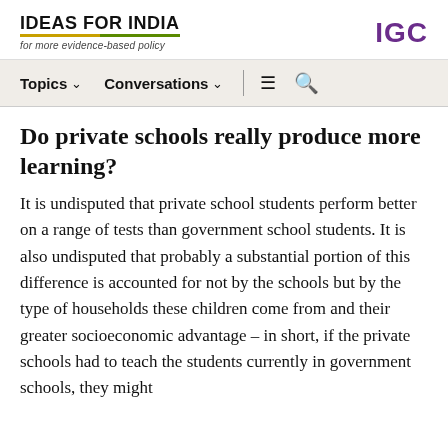IDEAS FOR INDIA — for more evidence-based policy | IGC
Topics  Conversations
Do private schools really produce more learning?
It is undisputed that private school students perform better on a range of tests than government school students. It is also undisputed that probably a substantial portion of this difference is accounted for not by the schools but by the type of households these children come from and their greater socioeconomic advantage – in short, if the private schools had to teach the students currently in government schools, they might